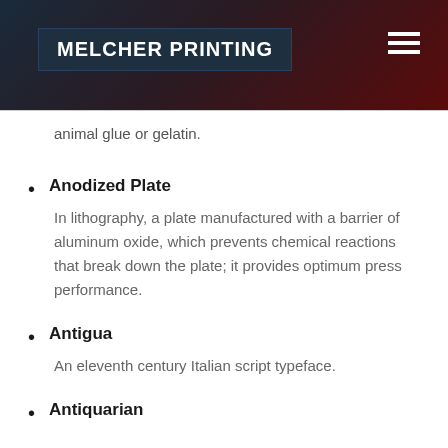MELCHER PRINTING
animal glue or gelatin.
Anodized Plate
In lithography, a plate manufactured with a barrier of aluminum oxide, which prevents chemical reactions that break down the plate; it provides optimum press performance.
Antigua
An eleventh century Italian script typeface.
Antiquarian